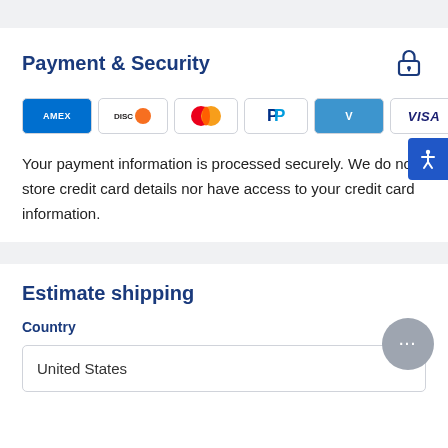Payment & Security
[Figure (logo): Payment method icons: Amex, Discover, Mastercard, PayPal, Venmo, Visa]
Your payment information is processed securely. We do not store credit card details nor have access to your credit card information.
Estimate shipping
Country
United States